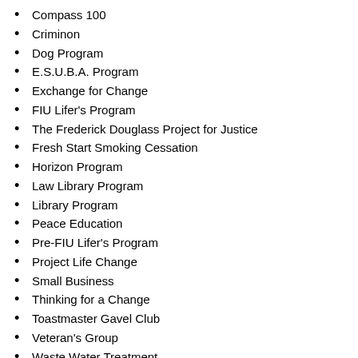Compass 100
Criminon
Dog Program
E.S.U.B.A. Program
Exchange for Change
FIU Lifer's Program
The Frederick Douglass Project for Justice
Fresh Start Smoking Cessation
Horizon Program
Law Library Program
Library Program
Peace Education
Pre-FIU Lifer's Program
Project Life Change
Small Business
Thinking for a Change
Toastmaster Gavel Club
Veteran's Group
Waste Water Treatment
Wellness Education
Yoga